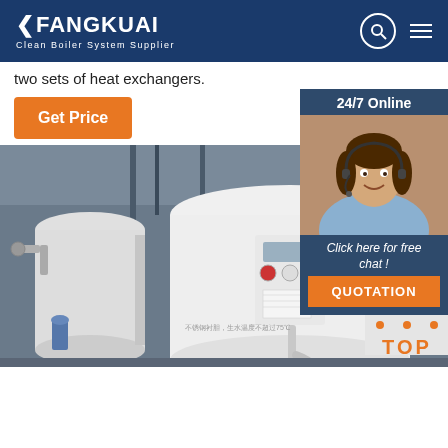FANGKUAI - Clean Boiler System Supplier
two sets of heat exchangers.
Get Price
[Figure (photo): Customer support agent photo with 24/7 Online label, Click here for free chat!, and QUOTATION button on dark blue sidebar widget]
[Figure (photo): Photo of large white industrial boiler units/heat exchangers in an industrial facility]
[Figure (other): TOP navigation button with orange dot-triangle icon and orange TOP text]